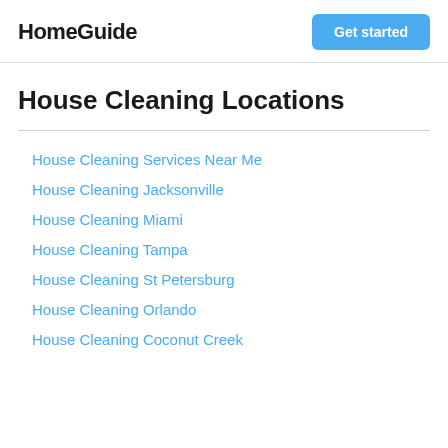HomeGuide | Get started
House Cleaning Locations
House Cleaning Services Near Me
House Cleaning Jacksonville
House Cleaning Miami
House Cleaning Tampa
House Cleaning St Petersburg
House Cleaning Orlando
House Cleaning Coconut Creek